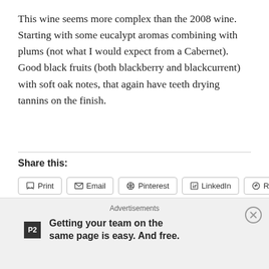This wine seems more complex than the 2008 wine. Starting with some eucalypt aromas combining with plums (not what I would expect from a Cabernet).  Good black fruits (both blackberry and blackcurrent) with soft oak notes, that again have teeth drying tannins on the finish.
Share this:
Print  Email  Pinterest  LinkedIn  Reddit  Twitter  Facebook  Tumblr
Like
Be the first to like this.
Advertisements
Getting your team on the same page is easy. And free.